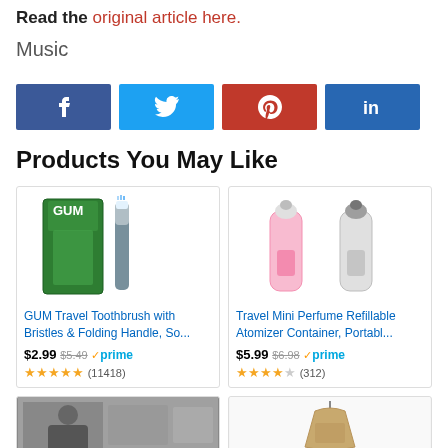Read the original article here.
Music
[Figure (infographic): Social share buttons: Facebook (blue), Twitter (light blue), Pinterest (red), LinkedIn (dark blue)]
Products You May Like
[Figure (photo): GUM Travel Toothbrush with Bristles & Folding Handle product image]
GUM Travel Toothbrush with Bristles & Folding Handle, So...
$2.99 $5.49 prime (11418)
[Figure (photo): Travel Mini Perfume Refillable Atomizer Container product image]
Travel Mini Perfume Refillable Atomizer Container, Portabl...
$5.99 $6.98 prime (312)
[Figure (photo): Partial product card 1 at bottom]
[Figure (photo): Partial product card 2 at bottom]